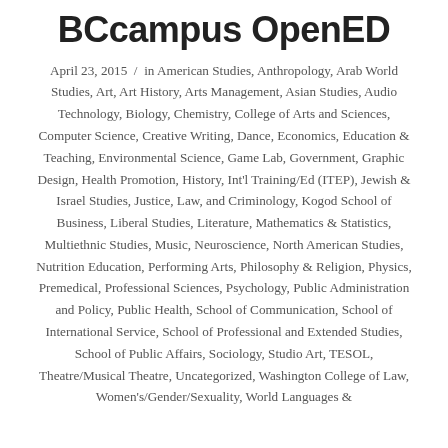BCcampus OpenED
April 23, 2015  /  in American Studies, Anthropology, Arab World Studies, Art, Art History, Arts Management, Asian Studies, Audio Technology, Biology, Chemistry, College of Arts and Sciences, Computer Science, Creative Writing, Dance, Economics, Education & Teaching, Environmental Science, Game Lab, Government, Graphic Design, Health Promotion, History, Int'l Training/Ed (ITEP), Jewish & Israel Studies, Justice, Law, and Criminology, Kogod School of Business, Liberal Studies, Literature, Mathematics & Statistics, Multiethnic Studies, Music, Neuroscience, North American Studies, Nutrition Education, Performing Arts, Philosophy & Religion, Physics, Premedical, Professional Sciences, Psychology, Public Administration and Policy, Public Health, School of Communication, School of International Service, School of Professional and Extended Studies, School of Public Affairs, Sociology, Studio Art, TESOL, Theatre/Musical Theatre, Uncategorized, Washington College of Law, Women's/Gender/Sexuality, World Languages &